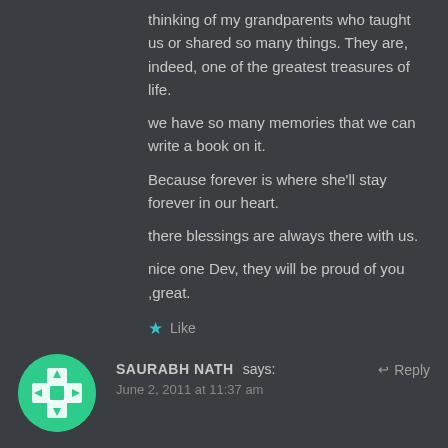thinking of my grandparents who taught us or shared so many things. They are, indeed, one of the greatest treasures of life.
we have so many memories that we can write a book on it.
Because forever is where she'll stay forever in our heart.
there blessings are always there with us.
nice one Dev, they will be proud of you ,great.
★ Like
[Figure (illustration): Round avatar with green background and white decorative cross/diamond pattern]
SAURABH NATH says: Reply
June 2, 2011 at 11:37 am